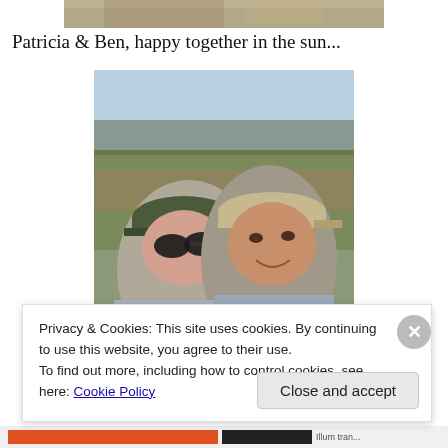[Figure (photo): Partial top of a photo showing sandy/earthy outdoor scene, cropped at top of page]
Patricia & Ben, happy together in the sun...
[Figure (photo): Photo of two people (Patricia and Ben) smiling outdoors in sunlight, wearing caps, with an open field and trees in background]
Privacy & Cookies: This site uses cookies. By continuing to use this website, you agree to their use.
To find out more, including how to control cookies, see here: Cookie Policy
Close and accept